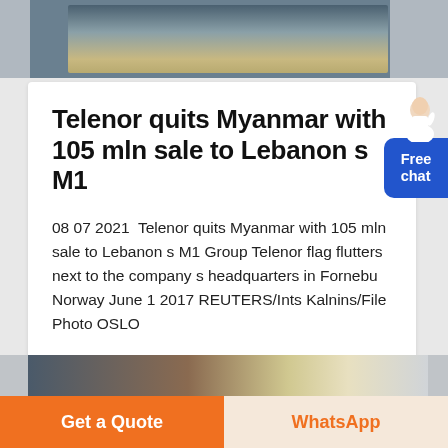[Figure (photo): Industrial machinery/mining equipment aerial view at top of page]
Telenor quits Myanmar with 105 mln sale to Lebanon s M1
08 07 2021  Telenor quits Myanmar with 105 mln sale to Lebanon s M1 Group Telenor flag flutters next to the company s headquarters in Fornebu Norway June 1 2017 REUTERS/Ints Kalnins/File Photo OSLO
Haz clic para chatear
[Figure (photo): Industrial warehouse interior photo at bottom of page]
Get a Quote
WhatsApp